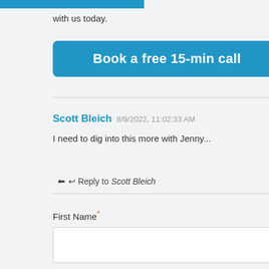with us today.
[Figure (other): Blue call-to-action button labeled 'Book a free 15-min call']
Scott Bleich 8/9/2022, 11:02:33 AM
I need to dig into this more with Jenny...
↩ Reply to Scott Bleich
First Name*